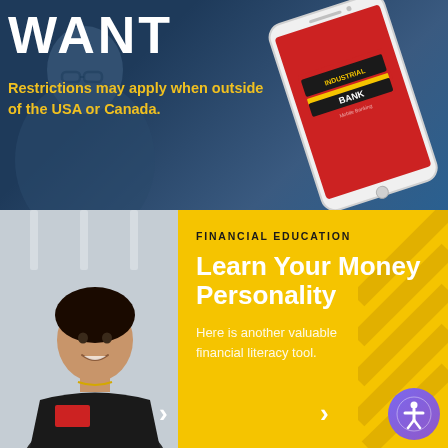WANT
Restrictions may apply when outside of the USA or Canada.
[Figure (photo): Industrial Bank mobile app displayed on a smartphone, tilted at an angle on a blue background. The phone screen shows a red background with the Industrial Bank logo in black and yellow.]
[Figure (photo): Portrait of a woman in professional attire smiling, wearing a name badge, against a light background.]
FINANCIAL EDUCATION
Learn Your Money Personality
Here is another valuable financial literacy tool.
NEW F
New
Introdu Choose